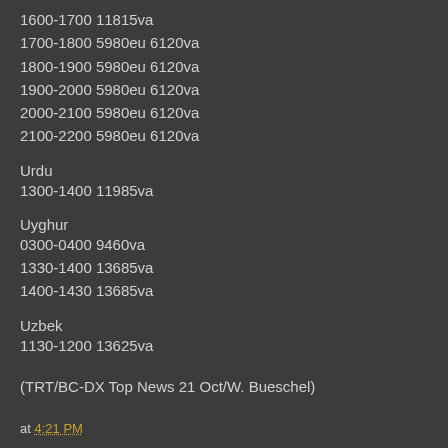1600-1700 11815va
1700-1800 5980eu 6120va
1800-1900 5980eu 6120va
1900-2000 5980eu 6120va
2000-2100 5980eu 6120va
2100-2200 5980eu 6120va
Urdu
1300-1400 11985va
Uyghur
0300-0400 9460va
1330-1400 13685va
1400-1430 13685va
Uzbek
1130-1200 13625va
(TRT/BC-DX Top News 21 Oct/W. Bueschel)
at 4:21 PM